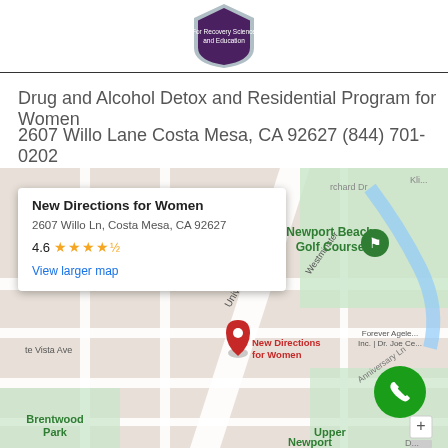[Figure (logo): Shield/badge logo with text 'For Recovery Science and Education' on dark purple background]
Drug and Alcohol Detox and Residential Program for Women
2607 Willo Lane Costa Mesa, CA 92627 (844) 701-0202
[Figure (map): Google Maps screenshot showing New Directions for Women at 2607 Willo Ln, Costa Mesa, CA 92627, rated 4.6 stars. Map shows Newport Beach Golf Course, University Dr, Brentwood Park, Forever Ageless Inc., New Directions for Women marker. Popup shows business name, address, rating 4.6 stars, and View larger map link. Green call button in bottom right corner.]